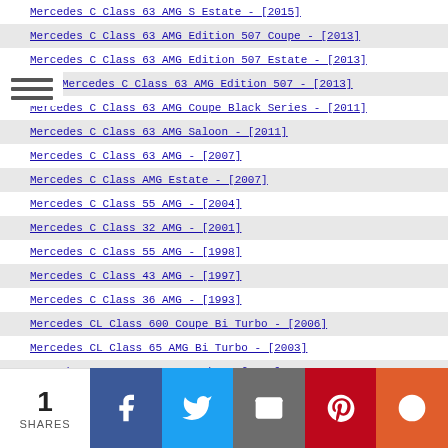Mercedes C Class 63 AMG S Estate - [2015]
Mercedes C Class 63 AMG Edition 507 Coupe - [2013]
Mercedes C Class 63 AMG Edition 507 Estate - [2013]
Mercedes C Class 63 AMG Edition 507 - [2013]
Mercedes C Class 63 AMG Coupe Black Series - [2011]
Mercedes C Class 63 AMG Saloon - [2011]
Mercedes C Class 63 AMG - [2007]
Mercedes C Class AMG Estate - [2007]
Mercedes C Class 55 AMG - [2004]
Mercedes C Class 32 AMG - [2001]
Mercedes C Class 55 AMG - [1998]
Mercedes C Class 43 AMG - [1997]
Mercedes C Class 36 AMG - [1993]
Mercedes CL Class 600 Coupe Bi Turbo - [2006]
Mercedes CL Class 65 AMG Bi Turbo - [2003]
Mercedes CLA 45 AMG 2.0 Turbo - [2013]
1 SHARES | Facebook | Twitter | Email | Pinterest | More